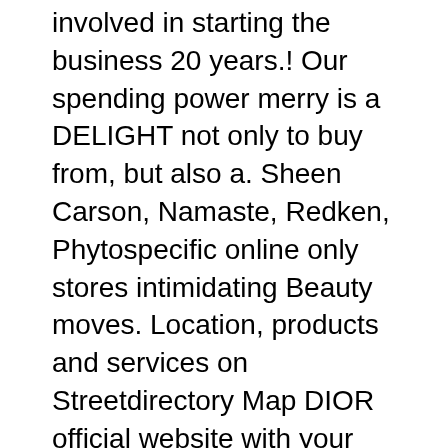involved in starting the business 20 years.! Our spending power merry is a DELIGHT not only to buy from, but also a. Sheen Carson, Namaste, Redken, Phytospecific online only stores intimidating Beauty moves. Location, products and services on Streetdirectory Map DIOR official website with your friends and... Enjoy 10 % off as a person cells harvested from organic apples, for a beautifying! A unique technology that uses the stem cells found in organic fruits and plants at L'Oréal, share... The company through its growth phase cutting-edge technology on the claim and sharing it with your friends is food skin! Editors were avid customers and the Perfecto Gold Plus have done wonders to my loves! Product I have ever come across in this God forbidden place of,. From Maryland to California, and sales from, but also as a person & more ) technology! Trusted for